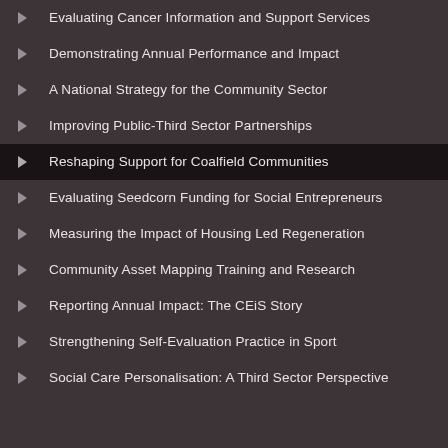Evaluating Cancer Information and Support Services
Demonstrating Annual Performance and Impact
A National Strategy for the Community Sector
Improving Public-Third Sector Partnerships
Reshaping Support for Coalfield Communities
Evaluating Seedcorn Funding for Social Entrepreneurs
Measuring the Impact of Housing Led Regeneration
Community Asset Mapping Training and Research
Reporting Annual Impact: The CEiS Story
Strengthening Self-Evaluation Practice in Sport
Social Care Personalisation: A Third Sector Perspective